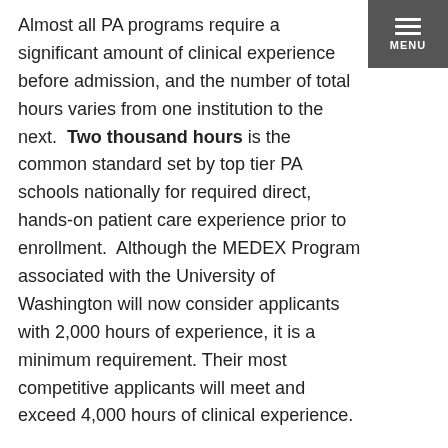Almost all PA programs require a significant amount of clinical experience before admission, and the number of total hours varies from one institution to the next. Two thousand hours is the common standard set by top tier PA schools nationally for required direct, hands-on patient care experience prior to enrollment. Although the MEDEX Program associated with the University of Washington will now consider applicants with 2,000 hours of experience, it is a minimum requirement. Their most competitive applicants will meet and exceed 4,000 hours of clinical experience.
The necessary hours of direct health care experience can be obtained from the following clinical positions:
nurses (at any level)
medical assistants
emergency medical technicians